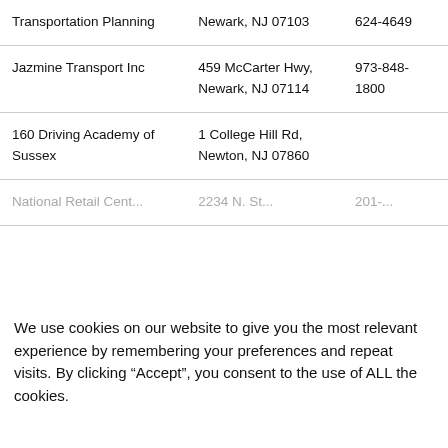| Name | Address | Phone |
| --- | --- | --- |
| Transportation Planning | Newark, NJ 07103 | 624-4649 |
| Jazmine Transport Inc | 459 McCarter Hwy, Newark, NJ 07114 | 973-848-1800 |
| 160 Driving Academy of Sussex | 1 College Hill Rd, Newton, NJ 07860 |  |
| National Retail Cent... | ... | ... |
We use cookies on our website to give you the most relevant experience by remembering your preferences and repeat visits. By clicking “Accept”, you consent to the use of ALL the cookies.